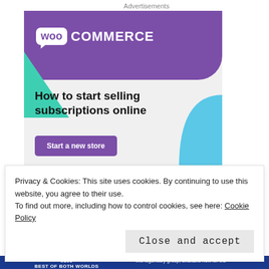Advertisements
[Figure (illustration): WooCommerce advertisement banner. Purple header with WooCommerce logo, teal triangle on left, light blue shape on right, headline 'How to start selling subscriptions online', purple 'Start a new store' button, 'REPORT THIS AD' text at bottom right.]
4/5 stars
Privacy & Cookies: This site uses cookies. By continuing to use this website, you agree to their use.
To find out more, including how to control cookies, see here: Cookie Policy
Close and accept
5150 BEST OF BOTH WORLDS | this legendary group, available now for the